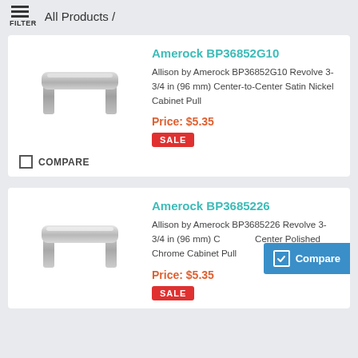FILTER / All Products /
[Figure (photo): Cabinet pull - Amerock BP36852G10, satin nickel finish, bar pull style]
Amerock BP36852G10
Allison by Amerock BP36852G10 Revolve 3-3/4 in (96 mm) Center-to-Center Satin Nickel Cabinet Pull
Price: $5.35
SALE
COMPARE
[Figure (photo): Cabinet pull - Amerock BP3685226, polished chrome finish, bar pull style]
Amerock BP3685226
Allison by Amerock BP3685226 Revolve 3-3/4 in (96 mm) Center-to-Center Polished Chrome Cabinet Pull
Price: $5.35
SALE
Compare